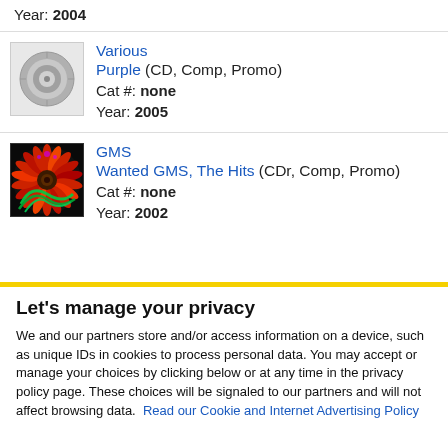Year: 2004
Various — Purple (CD, Comp, Promo) — Cat #: none — Year: 2005
GMS — Wanted GMS, The Hits (CDr, Comp, Promo) — Cat #: none — Year: 2002
Let's manage your privacy
We and our partners store and/or access information on a device, such as unique IDs in cookies to process personal data. You may accept or manage your choices by clicking below or at any time in the privacy policy page. These choices will be signaled to our partners and will not affect browsing data. Read our Cookie and Internet Advertising Policy